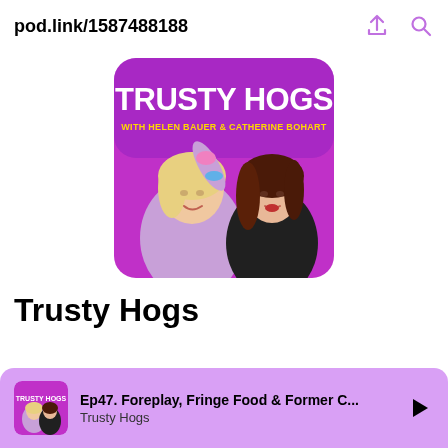pod.link/1587488188
[Figure (photo): Trusty Hogs podcast cover art: purple/magenta background with two women — one blonde in lavender sweater with scrunchies, one brunette in black top — and text 'TRUSTY HOGS WITH HELEN BAUER & CATHERINE BOHART']
Trusty Hogs
Ep47. Foreplay, Fringe Food & Former C... Trusty Hogs